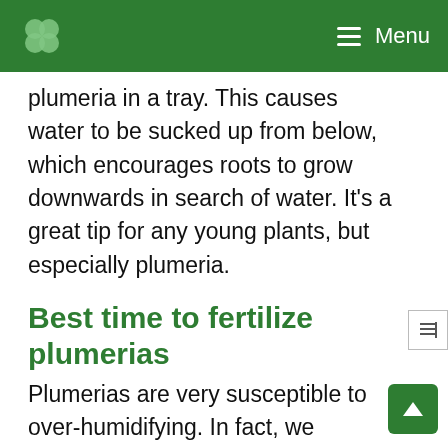Menu
plumeria in a tray. This causes water to be sucked up from below, which encourages roots to grow downwards in search of water. It's a great tip for any young plants, but especially plumeria.
Best time to fertilize plumerias
Plumerias are very susceptible to over-humidifying. In fact, we covered some of the fungal problems in our article about black-tip fungus. Because of this, it is always best to use any liquid feeds during the day, which will give